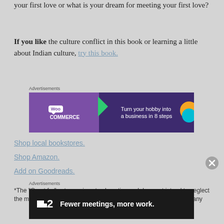your first love or what is your dream for meeting your first love?
If you like the culture conflict in this book or learning a little about Indian culture, try this book.
[Figure (other): WooCommerce advertisement banner: 'Turn your hobby into a business in 8 steps']
Shop local bookstores.
Shop Amazon.
Add on Goodreads.
*The "Great for" category is not exhaustive and does not intend to neglect the multitude of readers/teachers who could learn from this book in any
[Figure (other): T2 advertisement banner: 'Fewer meetings, more work.']